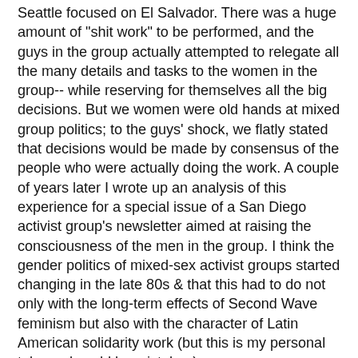Seattle focused on El Salvador. There was a huge amount of "shit work" to be performed, and the guys in the group actually attempted to relegate all the many details and tasks to the women in the group-- while reserving for themselves all the big decisions. But we women were old hands at mixed group politics; to the guys' shock, we flatly stated that decisions would be made by consensus of the people who were actually doing the work. A couple of years later I wrote up an analysis of this experience for a special issue of a San Diego activist group's newsletter aimed at raising the consciousness of the men in the group. I think the gender politics of mixed-sex activist groups started changing in the late 80s & that this had to do not only with the long-term effects of Second Wave feminism but also with the character of Latin American solidarity work (but this is my personal take and could be mistaken).
A related issue might be why there has traditionally been hostility between Marxists and anarchists. Staughton Lynd talks about this in Wobblies & Zapatistas, which I bought after our panel, at PM Press's table, and am now reading. Lynd himself advocates the "Haymarket Synthesis":